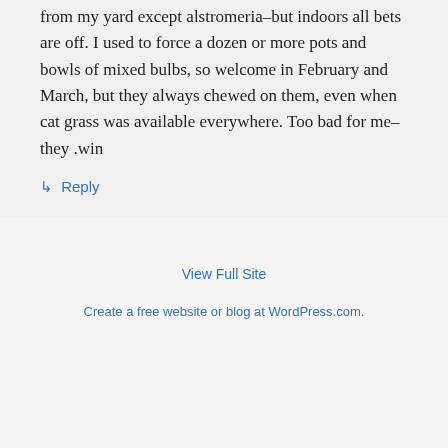from my yard except alstromeria–but indoors all bets are off. I used to force a dozen or more pots and bowls of mixed bulbs, so welcome in February and March, but they always chewed on them, even when cat grass was available everywhere. Too bad for me–they .win
↳ Reply
View Full Site
Create a free website or blog at WordPress.com.